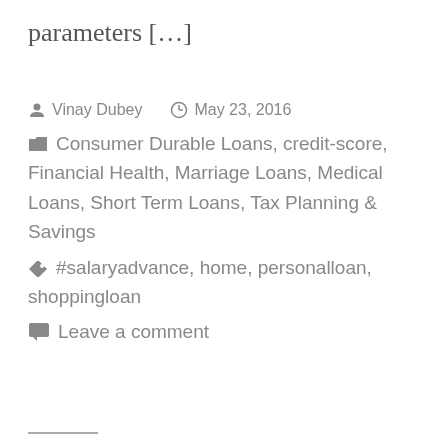parameters […]
Vinay Dubey   May 23, 2016
Consumer Durable Loans, credit-score, Financial Health, Marriage Loans, Medical Loans, Short Term Loans, Tax Planning & Savings
#salaryadvance, home, personalloan, shoppingloan
Leave a comment